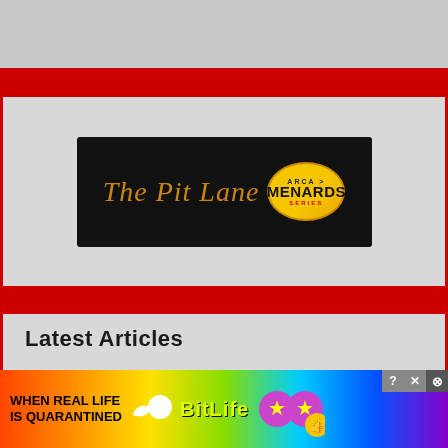[Figure (logo): The Pit Lane ARCA Menards Series logo on black background]
Latest Articles
Ryan Unzicker Wins Rain-Shortened ARCA Race at DuQuoin
ARCA Qualifying Canceled, Jones Logs an...
[Figure (photo): BitLife mobile game advertisement banner with rainbow background]